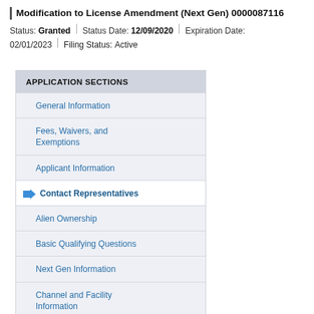Modification to License Amendment (Next Gen) 0000087116
Status: Granted | Status Date: 12/09/2020 | Expiration Date: 02/01/2023 | Filing Status: Active
APPLICATION SECTIONS
General Information
Fees, Waivers, and Exemptions
Applicant Information
Contact Representatives
Alien Ownership
Basic Qualifying Questions
Next Gen Information
Channel and Facility Information